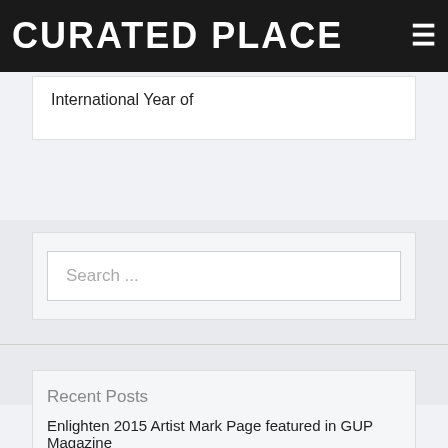CURATED PLACE
International Year of
Search ...
Recent Posts
Enlighten 2015 Artist Mark Page featured in GUP Magazine
Looking back on Enlighten 2015 and forward to SPECTRA 2016